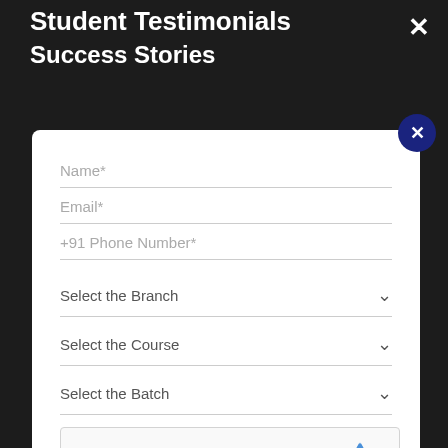Student Testimonials
Success Stories
Name*
Email*
+91 Phone Number*
Select the Branch
Select the Course
Select the Batch
I'm not a robot